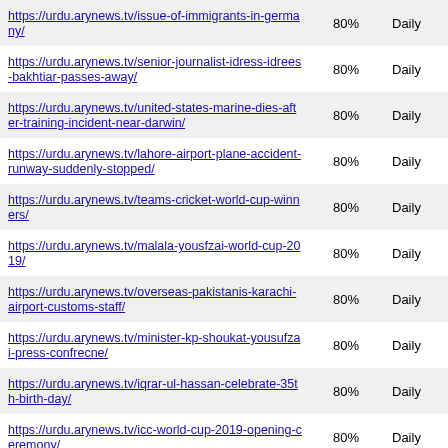| URL | Priority | Change Frequency |
| --- | --- | --- |
| https://urdu.arynews.tv/issue-of-immigrants-in-germany/ | 80% | Daily |
| https://urdu.arynews.tv/senior-journalist-idress-idrees-bakhtiar-passes-away/ | 80% | Daily |
| https://urdu.arynews.tv/united-states-marine-dies-after-training-incident-near-darwin/ | 80% | Daily |
| https://urdu.arynews.tv/lahore-airport-plane-accident-runway-suddenly-stopped/ | 80% | Daily |
| https://urdu.arynews.tv/teams-cricket-world-cup-winners/ | 80% | Daily |
| https://urdu.arynews.tv/malala-yousfzai-world-cup-2019/ | 80% | Daily |
| https://urdu.arynews.tv/overseas-pakistanis-karachi-airport-customs-staff/ | 80% | Daily |
| https://urdu.arynews.tv/minister-kp-shoukat-yousufzai-press-confrecne/ | 80% | Daily |
| https://urdu.arynews.tv/iqrar-ul-hassan-celebrate-35th-birth-day/ | 80% | Daily |
| https://urdu.arynews.tv/icc-world-cup-2019-opening-ceremony/ | 80% | Daily |
| https://urdu.arynews.tv/fatima-bhutto-celebrate-38th-birth-day/ | 80% | Daily |
| https://urdu.arynews.tv/imam-molests-12-year-old-in-uae-jailed/ | 80% | Daily |
| https://urdu.arynews.tv/muhammad-ali-sadpara-mountaineer-mount-makalu-ispr/ | 80% | Daily |